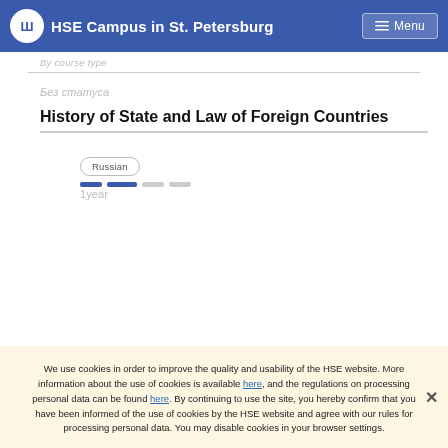HSE Campus in St. Petersburg
By course type
Без статуса
History of State and Law of Foreign Countries
Russian
1year
We use cookies in order to improve the quality and usability of the HSE website. More information about the use of cookies is available here, and the regulations on processing personal data can be found here. By continuing to use the site, you hereby confirm that you have been informed of the use of cookies by the HSE website and agree with our rules for processing personal data. You may disable cookies in your browser settings.